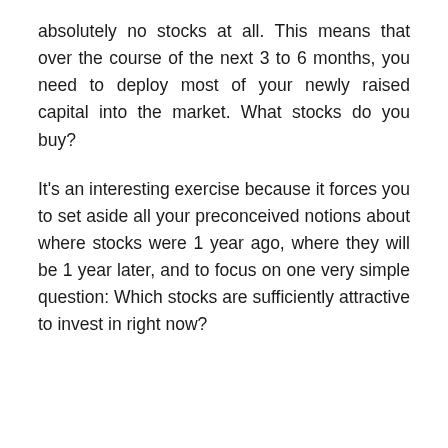absolutely no stocks at all. This means that over the course of the next 3 to 6 months, you need to deploy most of your newly raised capital into the market. What stocks do you buy?
It's an interesting exercise because it forces you to set aside all your preconceived notions about where stocks were 1 year ago, where they will be 1 year later, and to focus on one very simple question: Which stocks are sufficiently attractive to invest in right now?